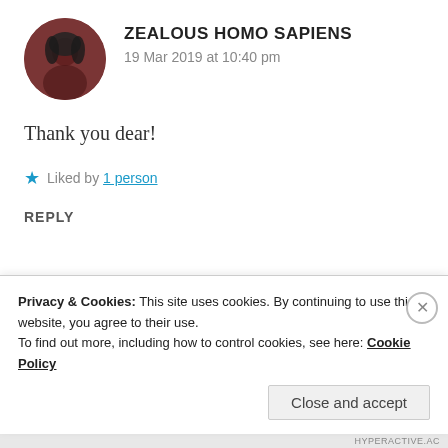[Figure (photo): Circular avatar of Zealous Homo Sapiens, a person with dark hair against a reddish-brown background]
ZEALOUS HOMO SAPIENS
19 Mar 2019 at 10:40 pm
Thank you dear!
★ Liked by 1 person
REPLY
[Figure (photo): Circular avatar of Ananya, a young woman with glasses smiling]
ANANYA
19 Mar 2019 at 9:46 pm
Privacy & Cookies: This site uses cookies. By continuing to use this website, you agree to their use.
To find out more, including how to control cookies, see here: Cookie Policy
Close and accept